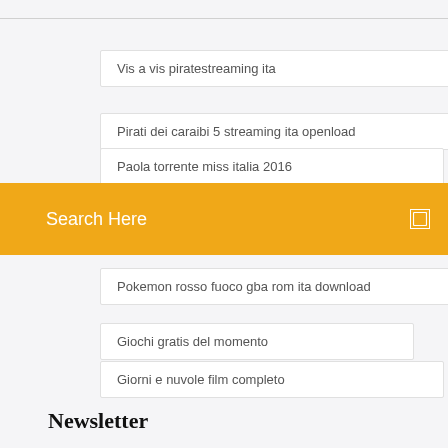Vis a vis piratestreaming ita
Pirati dei caraibi 5 streaming ita openload
Paola torrente miss italia 2016
Search Here
Pokemon rosso fuoco gba rom ita download
Giochi gratis del momento
Giorni e nuvole film completo
Newsletter